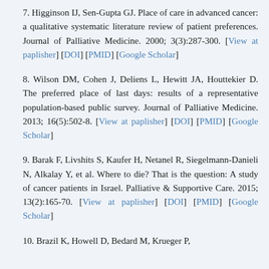7. Higginson IJ, Sen-Gupta GJ. Place of care in advanced cancer: a qualitative systematic literature review of patient preferences. Journal of Palliative Medicine. 2000; 3(3):287-300. [View at paplisher] [DOI] [PMID] [Google Scholar]
8. Wilson DM, Cohen J, Deliens L, Hewitt JA, Houttekier D. The preferred place of last days: results of a representative population-based public survey. Journal of Palliative Medicine. 2013; 16(5):502-8. [View at paplisher] [DOI] [PMID] [Google Scholar]
9. Barak F, Livshits S, Kaufer H, Netanel R, Siegelmann-Danieli N, Alkalay Y, et al. Where to die? That is the question: A study of cancer patients in Israel. Palliative & Supportive Care. 2015; 13(2):165-70. [View at paplisher] [DOI] [PMID] [Google Scholar]
10. Brazil K, Howell D, Bedard M, Krueger P,